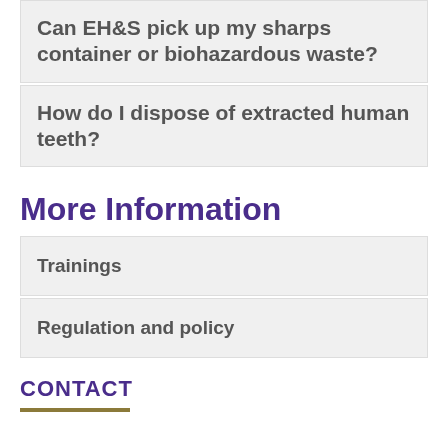Can EH&S pick up my sharps container or biohazardous waste?
How do I dispose of extracted human teeth?
More Information
Trainings
Regulation and policy
CONTACT